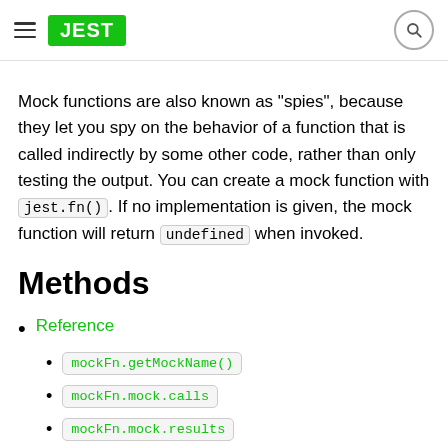JEST
Mock functions are also known as "spies", because they let you spy on the behavior of a function that is called indirectly by some other code, rather than only testing the output. You can create a mock function with jest.fn(). If no implementation is given, the mock function will return undefined when invoked.
Methods
Reference
mockFn.getMockName()
mockFn.mock.calls
mockFn.mock.results